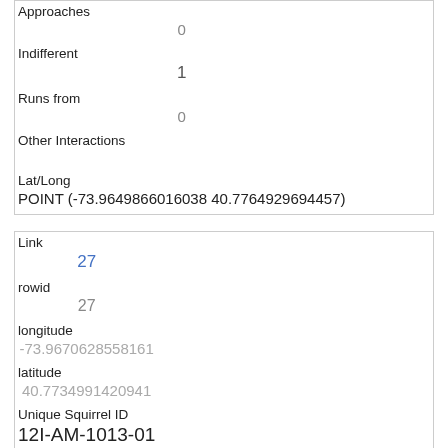| Approaches | 0 |
| Indifferent | 1 |
| Runs from | 0 |
| Other Interactions |  |
| Lat/Long | POINT (-73.9649866016038 40.7764929694457) |
| Link | 27 |
| rowid | 27 |
| longitude | -73.9670628558161 |
| latitude | 40.7734991420941 |
| Unique Squirrel ID | 12I-AM-1013-01 |